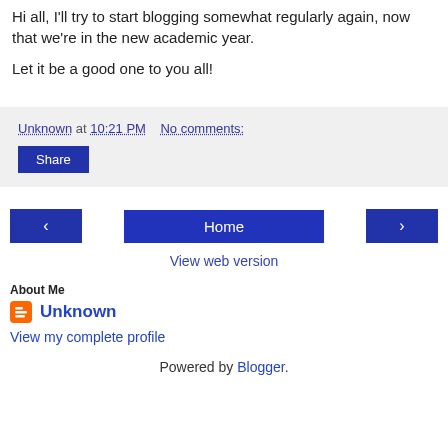Hi all, I'll try to start blogging somewhat regularly again, now that we're in the new academic year.
Let it be a good one to you all!
Unknown at 10:21 PM   No comments:
Share
‹  Home  ›
View web version
About Me
Unknown
View my complete profile
Powered by Blogger.